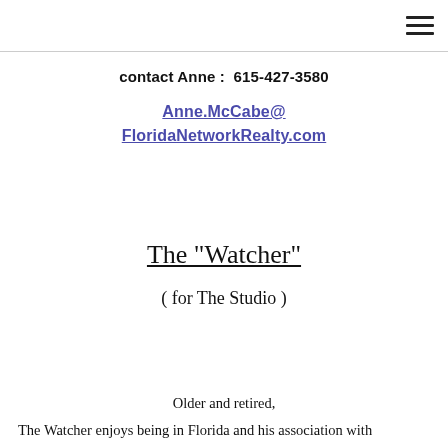≡
contact Anne :  615-427-3580
Anne.McCabe@FloridaNetworkRealty.com
The "Watcher"
( for The Studio )
Older and retired,
The Watcher enjoys being in Florida and his association with